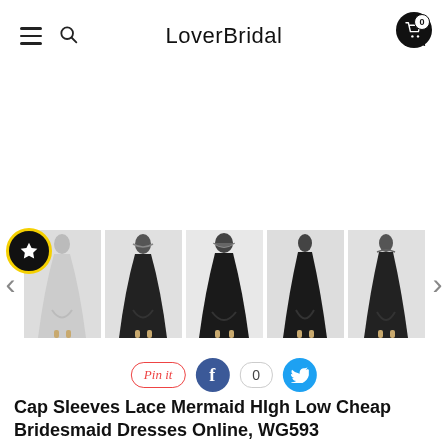LoverBridal
[Figure (photo): Five product thumbnails of a cap sleeves lace mermaid high low bridesmaid dress in black, shown from different angles, displayed in a horizontal row with left and right navigation arrows. A wishlist star badge is visible on the left.]
Pin it  0
Cap Sleeves Lace Mermaid HIgh Low Cheap Bridesmaid Dresses Online, WG593